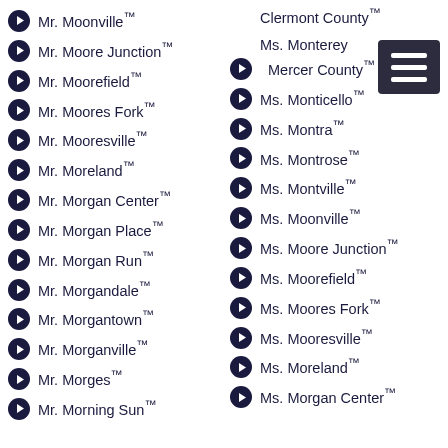Mr. Moonville™
Mr. Moore Junction™
Mr. Moorefield™
Mr. Moores Fork™
Mr. Mooresville™
Mr. Moreland™
Mr. Morgan Center™
Mr. Morgan Place™
Mr. Morgan Run™
Mr. Morgandale™
Mr. Morgantown™
Mr. Morganville™
Mr. Morges™
Mr. Morning Sun™
Clermont County™
Ms. Monterey / Mercer County™
Ms. Monticello™
Ms. Montra™
Ms. Montrose™
Ms. Montville™
Ms. Moonville™
Ms. Moore Junction™
Ms. Moorefield™
Ms. Moores Fork™
Ms. Mooresville™
Ms. Moreland™
Ms. Morgan Center™